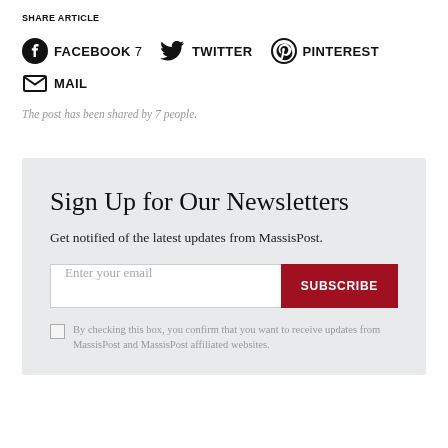SHARE ARTICLE
[Figure (infographic): Social share buttons: Facebook (7), Twitter, Pinterest, Mail icons with labels]
The post has been shared by 7 people.
Sign Up for Our Newsletters
Get notified of the latest updates from MassisPost.
Enter your email | SUBSCRIBE button
By checking this box, you confirm that you want to receive updates from MassisPost and MassisPost affiliated websites.